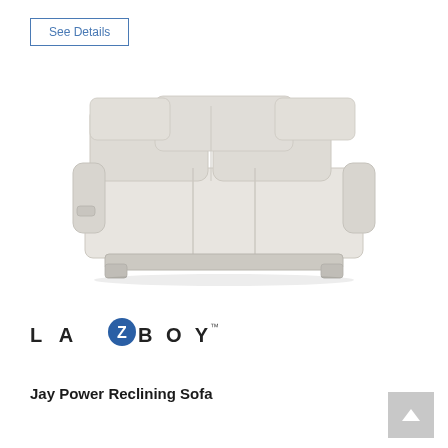See Details
[Figure (photo): A light gray/cream colored La-Z-Boy Jay Power Reclining Sofa shown in a three-quarter front view. The sofa has three seats with padded backrests and armrests, and appears to be upholstered in a light beige/off-white leather or fabric.]
[Figure (logo): La-Z-Boy logo with stylized letter Z in a blue circle]
Jay Power Reclining Sofa